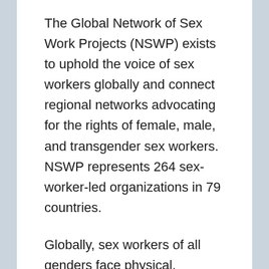The Global Network of Sex Work Projects (NSWP) exists to uphold the voice of sex workers globally and connect regional networks advocating for the rights of female, male, and transgender sex workers. NSWP represents 264 sex-worker-led organizations in 79 countries.
Globally, sex workers of all genders face physical, psychological, and sexual violence. Gender-based violence against sex workers has particularly acute repercussions,